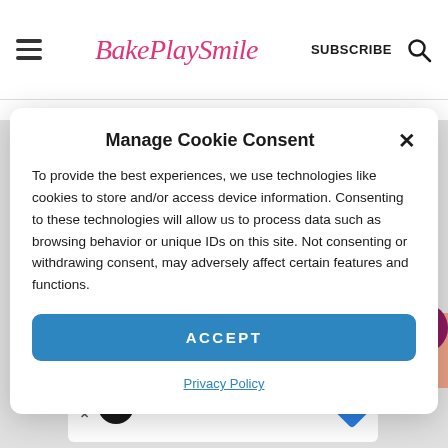BakePlaySmile — SUBSCRIBE
Manage Cookie Consent
To provide the best experiences, we use technologies like cookies to store and/or access device information. Consenting to these technologies will allow us to process data such as browsing behavior or unique IDs on this site. Not consenting or withdrawing consent, may adversely affect certain features and functions.
ACCEPT
Privacy Policy